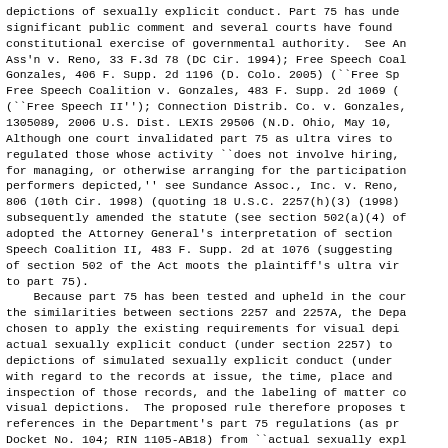depictions of sexually explicit conduct. Part 75 has undergone significant public comment and several courts have found it a constitutional exercise of governmental authority. See Am. Ass'n v. Reno, 33 F.3d 78 (DC Cir. 1994); Free Speech Coal. v. Gonzales, 406 F. Supp. 2d 1196 (D. Colo. 2005) (``Free Sp... Free Speech Coalition v. Gonzales, 483 F. Supp. 2d 1069 (``Free Speech II''); Connection Distrib. Co. v. Gonzales, 1305089, 2006 U.S. Dist. LEXIS 29506 (N.D. Ohio, May 10, Although one court invalidated part 75 as ultra vires to regulated those whose activity ``does not involve hiring, for managing, or otherwise arranging for the participation performers depicted,'' see Sundance Assoc., Inc. v. Reno, 806 (10th Cir. 1998) (quoting 18 U.S.C. 2257(h)(3) (1998) subsequently amended the statute (see section 502(a)(4) adopted the Attorney General's interpretation of section Speech Coalition II, 483 F. Supp. 2d at 1076 (suggesting of section 502 of the Act moots the plaintiff's ultra vires to part 75). Because part 75 has been tested and upheld in the courts, the similarities between sections 2257 and 2257A, the Department has chosen to apply the existing requirements for visual depictions of actual sexually explicit conduct (under section 2257) to visual depictions of simulated sexually explicit conduct (under section 2257A) with regard to the records at issue, the time, place and manner of inspection of those records, and the labeling of matter containing visual depictions. The proposed rule therefore proposes to change references in the Department's part 75 regulations (as proposed in Docket No. 104; RIN 1105-AB18) from ``actual sexually explicit conduct'' to ``actual or simulated sexually explicit conduct,'' as appropriate, and to make other minor textual changes as needed.